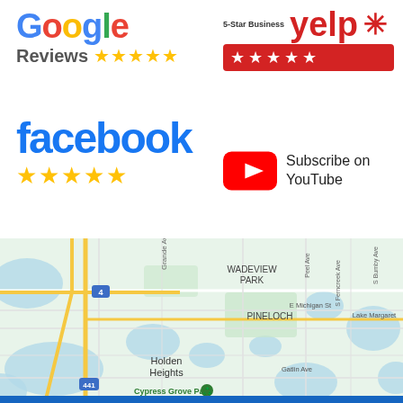[Figure (logo): Google Reviews logo with 5 gold stars]
[Figure (logo): Yelp 5-Star Business logo with red star rating bar]
[Figure (logo): Facebook logo in blue with 5 gold stars]
[Figure (logo): YouTube Subscribe button with text 'Subscribe on YouTube']
[Figure (map): Google Map showing Orlando area including Wadeview Park, Pineloch, Holden Heights, Cypress Grove Park, with roads and water features visible]